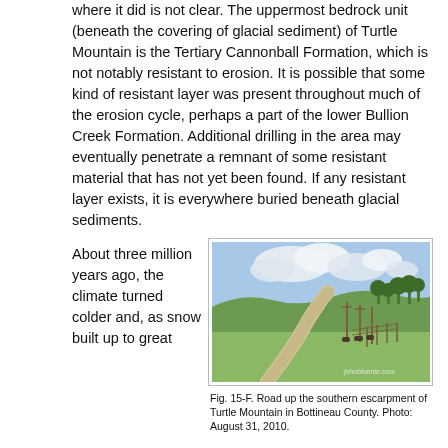where it did is not clear. The uppermost bedrock unit (beneath the covering of glacial sediment) of Turtle Mountain is the Tertiary Cannonball Formation, which is not notably resistant to erosion. It is possible that some kind of resistant layer was present throughout much of the erosion cycle, perhaps a part of the lower Bullion Creek Formation. Additional drilling in the area may eventually penetrate a remnant of some resistant material that has not yet been found. If any resistant layer exists, it is everywhere buried beneath glacial sediments.
About three million years ago, the climate turned colder and, as snow built up to great
[Figure (photo): Road up the southern escarpment of Turtle Mountain in Bottineau County. A winding gravel road curves through rolling green hills with trees and cloud-filled sky. Cattle near fences on the right side. Watermark: johnbluenle.com]
Fig. 15-F. Road up the southern escarpment of Turtle Mountain in Bottineau County. Photo: August 31, 2010.